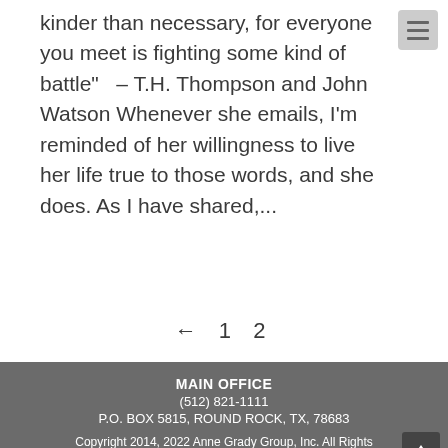kinder than necessary, for everyone you meet is fighting some kind of battle" – T.H. Thompson and John Watson Whenever she emails, I'm reminded of her willingness to live her life true to those words, and she does. As I have shared,...
← 1  2
MAIN OFFICE
(512) 821-1111
P.O. BOX 5815, ROUND ROCK, TX, 78683
Copyright 2014, 2022 Anne Grady Group, Inc. All Rights Reserved.